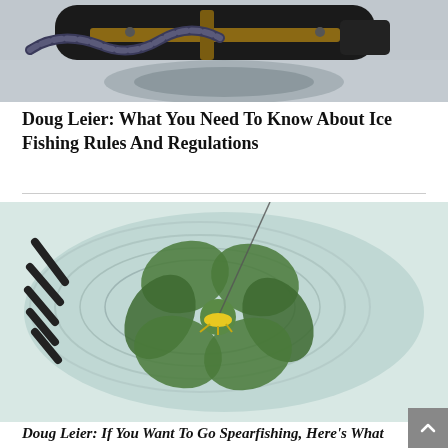[Figure (photo): Close-up photo of an ice fishing auger/drill tool with a hose on a snowy, icy surface.]
Doug Leier: What You Need To Know About Ice Fishing Rules And Regulations
[Figure (photo): Close-up underwater or ice-hole photo showing a green flower-like object (possibly algae or vegetation) with a fishing lure visible in the ice hole.]
Doug Leier: If You Want To Go Spearfishing, Here's What To...